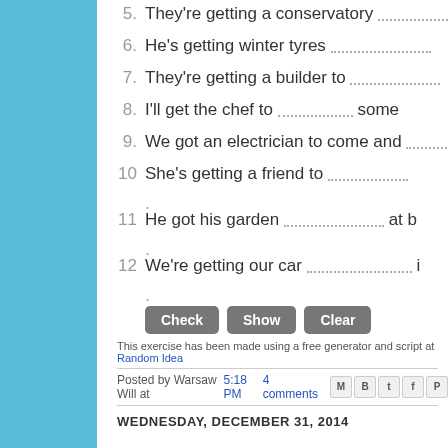5. They're getting a conservatory ___
6. He's getting winter tyres ___
7. They're getting a builder to ___
8. I'll get the chef to ___ some
9. We got an electrician to come and ___
10 She's getting a friend to ___
11 He got his garden ___ at b
12 We're getting our car ___ i
Check  Show  Clear
This exercise has been made using a free generator and script at Random Idea
Posted by Warsaw Will at 5:18 PM   4 comments
WEDNESDAY, DECEMBER 31, 2014